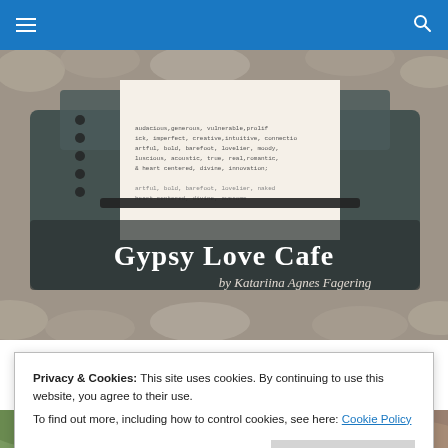Navigation bar with hamburger menu and search icon
[Figure (photo): Hero banner image of a typewriter with paper showing text, overlaid with 'Gypsy Love Cafe by Katariina Agnes Fagering' in decorative font]
TAGGED WITH LO-FI DESIGN
Privacy & Cookies: This site uses cookies. By continuing to use this website, you agree to their use.
To find out more, including how to control cookies, see here: Cookie Policy
Close and accept
[Figure (photo): Bottom strip showing partial images of two photos side by side]